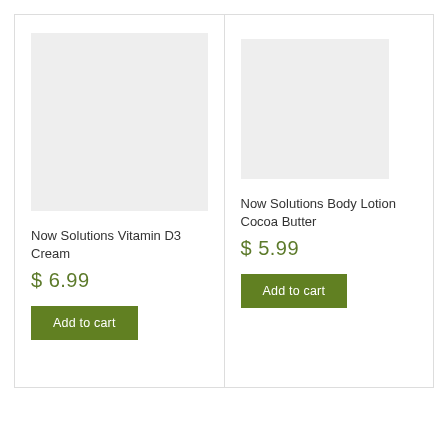[Figure (other): Placeholder image for Now Solutions Vitamin D3 Cream product]
Now Solutions Vitamin D3 Cream
$ 6.99
Add to cart
[Figure (other): Placeholder image for Now Solutions Body Lotion Cocoa Butter product]
Now Solutions Body Lotion Cocoa Butter
$ 5.99
Add to cart